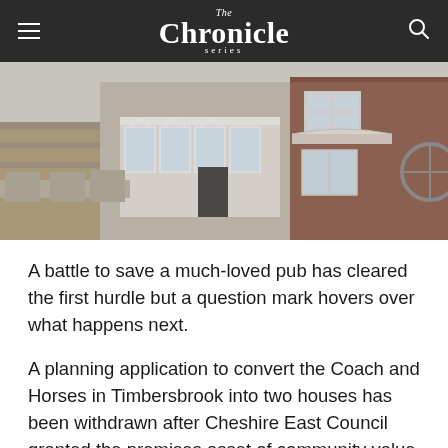The Chronicle series
[Figure (photo): Exterior photograph of the Coach and Horses pub in Timbersbrook, showing a stone and brick building with white-framed windows and a covered entrance porch.]
A battle to save a much-loved pub has cleared the first hurdle but a question mark hovers over what happens next.
A planning application to convert the Coach and Horses in Timbersbrook into two houses has been withdrawn after Cheshire East Council granted the premises asset of community value status.
This means the pub cannot be sold without the local